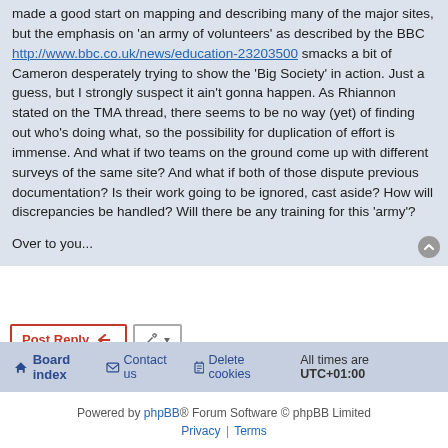made a good start on mapping and describing many of the major sites, but the emphasis on 'an army of volunteers' as described by the BBC http://www.bbc.co.uk/news/education-23203500 smacks a bit of Cameron desperately trying to show the 'Big Society' in action. Just a guess, but I strongly suspect it ain't gonna happen. As Rhiannon stated on the TMA thread, there seems to be no way (yet) of finding out who's doing what, so the possibility for duplication of effort is immense. And what if two teams on the ground come up with different surveys of the same site? And what if both of those dispute previous documentation? Is their work going to be ignored, cast aside? How will discrepancies be handled? Will there be any training for this 'army'?

Over to you...
Post Reply | 1 post • Page 1 of 1
Board index | Contact us | Delete cookies | All times are UTC+01:00
Powered by phpBB® Forum Software © phpBB Limited | Privacy | Terms